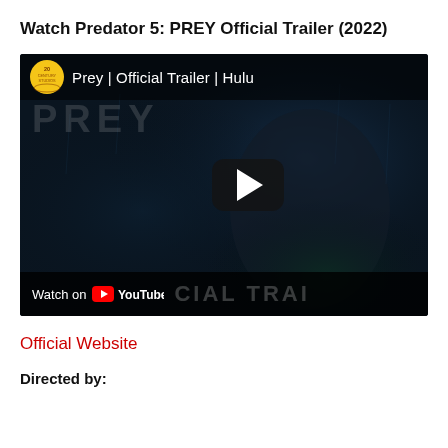Watch Predator 5: PREY Official Trailer (2022)
[Figure (screenshot): YouTube video thumbnail for 'Prey | Official Trailer | Hulu' showing a dark cinematic scene with a female character, a 20th Century Studios logo, a play button, and a YouTube 'Watch on YouTube' bar at the bottom. The bottom of the thumbnail shows partial text 'OFFICIAL TRAI'.]
Official Website
Directed by: